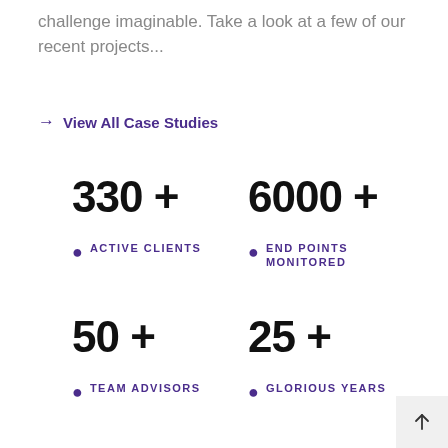challenge imaginable. Take a look at a few of our recent projects...
→ View All Case Studies
330 +
• ACTIVE CLIENTS
6000 +
• END POINTS MONITORED
50 +
• TEAM ADVISORS
25 +
• GLORIOUS YEARS